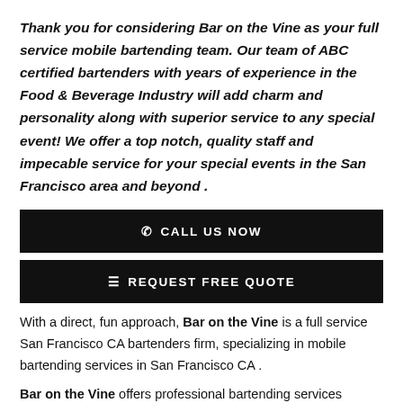Thank you for considering Bar on the Vine as your full service mobile bartending team. Our team of ABC certified bartenders with years of experience in the Food & Beverage Industry will add charm and personality along with superior service to any special event! We offer a top notch, quality staff and impecable service for your special events in the San Francisco area and beyond .
[Figure (other): Black button with phone icon and text CALL US NOW]
[Figure (other): Black button with list icon and text REQUEST FREE QUOTE]
With a direct, fun approach, Bar on the Vine is a full service San Francisco CA bartenders firm, specializing in mobile bartending services in San Francisco CA .
Bar on the Vine offers professional bartending services